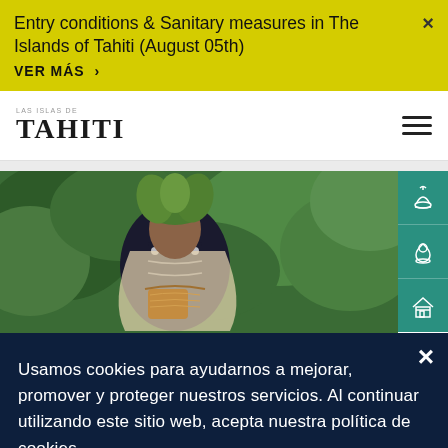Entry conditions & Sanitary measures in The Islands of Tahiti (August 05th)
VER MÁS >
[Figure (logo): Las Islas de Tahiti logo with stylized text]
[Figure (photo): Man wearing traditional Polynesian attire with floral headdress, surrounded by tropical green plants, holding a wooden vessel]
Usamos cookies para ayudarnos a mejorar, promover y proteger nuestros servicios. Al continuar utilizando este sitio web, acepta nuestra política de cookies.